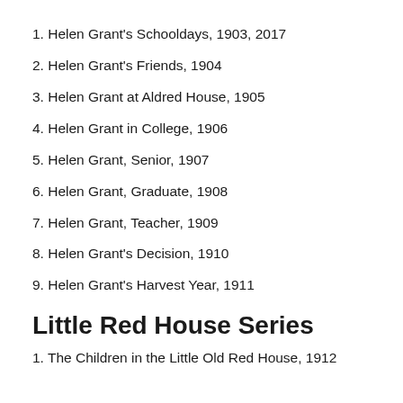1. Helen Grant's Schooldays, 1903, 2017
2. Helen Grant's Friends, 1904
3. Helen Grant at Aldred House, 1905
4. Helen Grant in College, 1906
5. Helen Grant, Senior, 1907
6. Helen Grant, Graduate, 1908
7. Helen Grant, Teacher, 1909
8. Helen Grant's Decision, 1910
9. Helen Grant's Harvest Year, 1911
Little Red House Series
1. The Children in the Little Old Red House, 1912